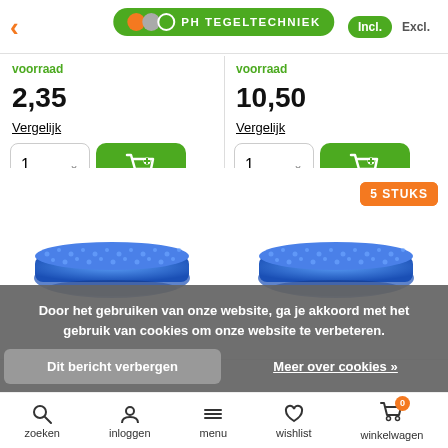PH TEGELTECHNIEK — Incl. / Excl.
voorraad
2,35
Vergelijk
1
voorraad
10,50
Vergelijk
1
[Figure (photo): Blue scrubbing pad product image, left column]
[Figure (photo): Blue scrubbing pad product image, right column with '5 STUKS' badge]
5 STUKS
Door het gebruiken van onze website, ga je akkoord met het gebruik van cookies om onze website te verbeteren.
Dit bericht verbergen
Meer over cookies »
zoeken  inloggen  menu  wishlist  winkelwagen